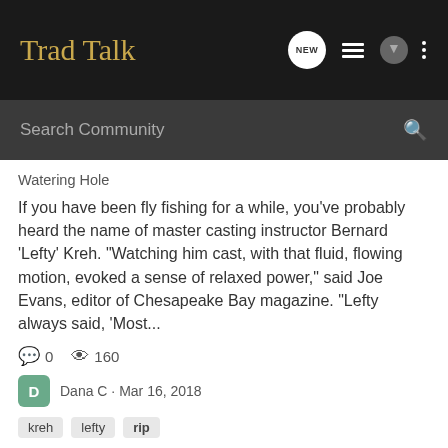Trad Talk
Search Community
Watering Hole
If you have been fly fishing for a while, you've probably heard the name of master casting instructor Bernard 'Lefty' Kreh. "Watching him cast, with that fluid, flowing motion, evoked a sense of relaxed power," said Joe Evans, editor of Chesapeake Bay magazine. "Lefty always said, 'Most...
0   160
Dana C · Mar 16, 2018
kreh   lefty   rip
Stephen Hawking RIP
Watering Hole
Planet Earth is a remarkable planet, teeming with life...